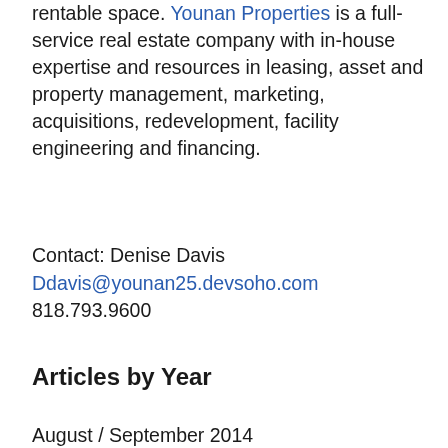rentable space. Younan Properties is a full-service real estate company with in-house expertise and resources in leasing, asset and property management, marketing, acquisitions, redevelopment, facility engineering and financing.
Contact: Denise Davis
Ddavis@younan25.devsoho.com
818.793.9600
Articles by Year
August / September 2014